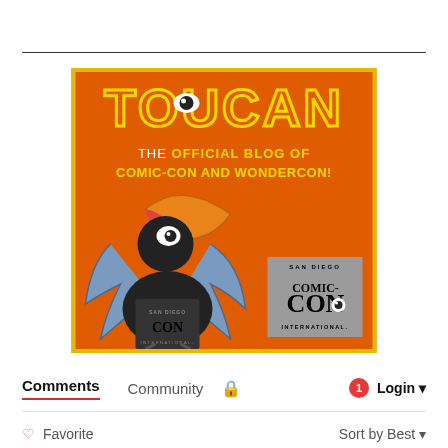[Figure (illustration): Toucan - The Official Blog of Comic-Con and WonderCon promotional image. Orange background with yellow border. Features large yellow outlined TOUCAN text at top with an eye in the O. Below reads 'THE OFFICIAL BLOG OF COMIC-CON AND WONDERCON!' in white and yellow text. A cartoon toucan bird wearing a Comic-Con t-shirt is illustrated in the center-left. The San Diego Comic-Con International logo appears in the bottom-right corner.]
Comments
Community
Login
Favorite
Sort by Best